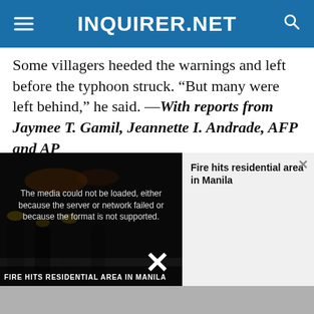INQUIRER.NET
Some villagers heeded the warnings and left before the typhoon struck. “But many were left behind,” he said. —With reports from Jaymee T. Gamil, Jeannette I. Andrade, AFP and AP
Inquirer calls for support for the victims of typhoon Ompong
Responding to appeals for help, the Philippine Daily Inquirer is extending its relief to victims of the
[Figure (screenshot): Video player overlay showing a partially loaded video with error message 'The media could not be loaded, either because the server or network failed or because the format is not supported.' Thumbnail shows firefighters at night scene with caption 'FIRE HITS RESIDENTIAL AREA IN MANILA'. Right side shows title 'Fire hits residential area in Manila'. A large X close button is shown at the bottom center. A gray bar runs along the bottom of the page.]